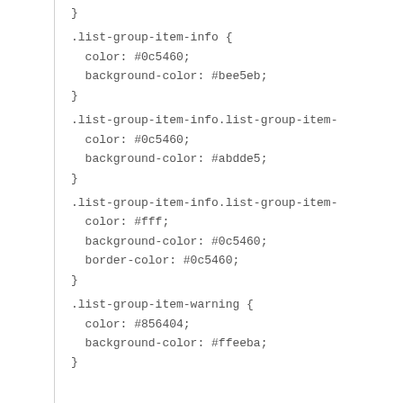}
.list-group-item-info {
  color: #0c5460;
  background-color: #bee5eb;
}
.list-group-item-info.list-group-item-
  color: #0c5460;
  background-color: #abdde5;
}
.list-group-item-info.list-group-item-
  color: #fff;
  background-color: #0c5460;
  border-color: #0c5460;
}
.list-group-item-warning {
  color: #856404;
  background-color: #ffeeba;
}